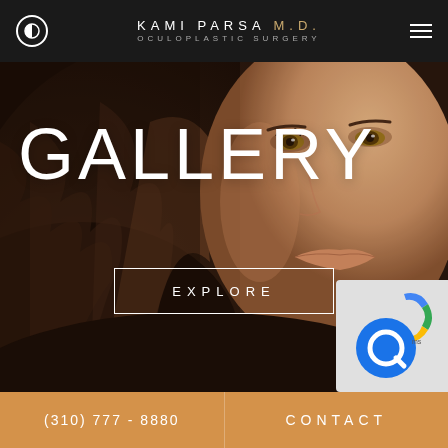KAMI PARSA M.D. OCULOPLASTIC SURGERY
[Figure (photo): Close-up portrait of a woman with brown wavy hair and hazel eyes, used as a hero background image for a medical gallery page]
GALLERY
EXPLORE
[Figure (logo): Chat widget with blue Q logo and reCAPTCHA icon in bottom right corner]
(310) 777 - 8880   CONTACT